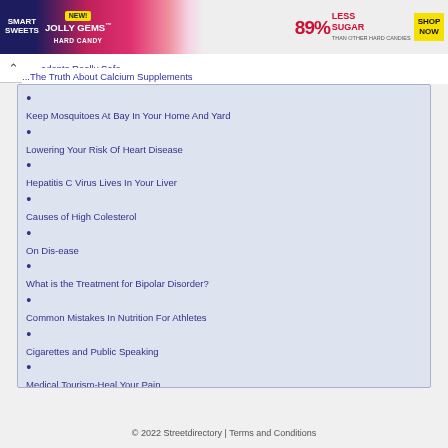[Figure (other): Smart Sweets Jolly Gems advertisement banner: '89% Less Sugar than other hard candies', 'SHOP NOW' button]
...adents Really Safe
...The Truth About Calcium Supplements
Keep Mosquitoes At Bay In Your Home And Yard
Lowering Your Risk Of Heart Disease
Hepatitis C Virus Lives In Your Liver
Causes of High Colesterol
On Dis-ease
What is the Treatment for Bipolar Disorder?
Common Mistakes In Nutrition For Athletes
Cigarettes and Public Speaking
Medical Tourism-Heal Your Pain
Senior Healthcare: Medical Aspects
Learn the Health Secrets of the Worlds Healthiest People !
Mental Health Insurance and Health Plan
Tea Tree Oil Wonders
How to Get in Better Shape Without Worthless Supplements
» More on Health
© 2022 Streetdirectory | Terms and Conditions